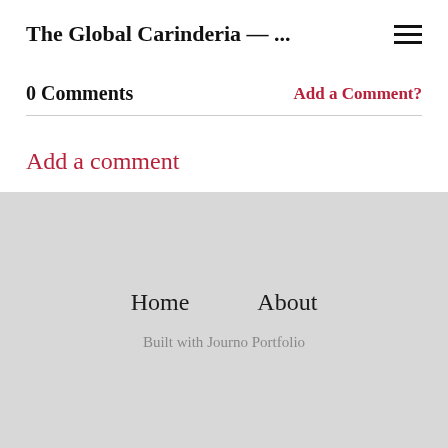The Global Carinderia — ...
0 Comments
Add a Comment?
Add a comment
Home   About   Built with Journo Portfolio